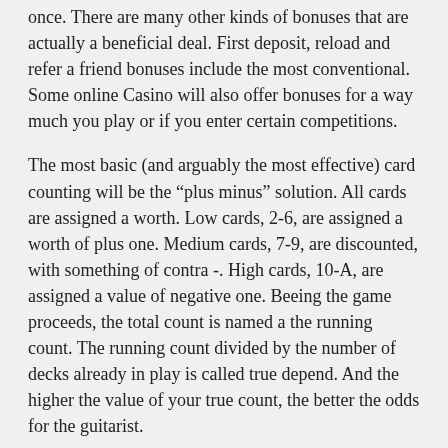once. There are many other kinds of bonuses that are actually a beneficial deal. First deposit, reload and refer a friend bonuses include the most conventional. Some online Casino will also offer bonuses for a way much you play or if you enter certain competitions.
The most basic (and arguably the most effective) card counting will be the “plus minus” solution. All cards are assigned a worth. Low cards, 2-6, are assigned a worth of plus one. Medium cards, 7-9, are discounted, with something of contra -. High cards, 10-A, are assigned a value of negative one. Beeing the game proceeds, the total count is named a the running count. The running count divided by the number of decks already in play is called true depend. And the higher the value of your true count, the better the odds for the guitarist.
The no deposit bonus is a broadband casino bonus. It does not need any money at just. Usually when you open an account, just add the comprise put additional incentives for that player. Nevertheless mostly of 10 dollars.